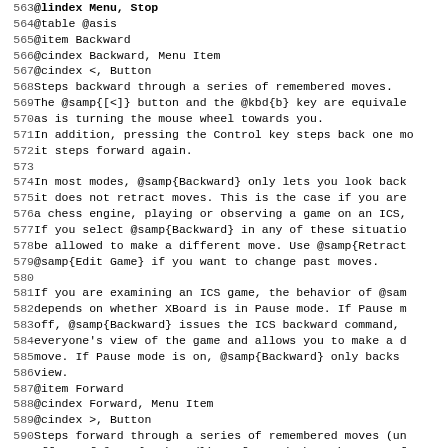563 @lindex Menu, Stop
564 @table @asis
565 @item Backward
566 @cindex Backward, Menu Item
567 @cindex <, Button
568 Steps backward through a series of remembered moves.
569 The @samp{[<]} button and the @kbd{b} key are equivalents,
570 as is turning the mouse wheel towards you.
571 In addition, pressing the Control key steps back one move;
572 it steps forward again.
573 
574 In most modes, @samp{Backward} only lets you look back;
575 it does not retract moves. This is the case if you are
576 a chess engine, playing or observing a game on an ICS,
577 If you select @samp{Backward} in any of these situations
578 be allowed to make a different move. Use @samp{Retract}
579 @samp{Edit Game} if you want to change past moves.
580 
581 If you are examining an ICS game, the behavior of @samp
582 depends on whether XBoard is in Pause mode. If Pause mo
583 off, @samp{Backward} issues the ICS backward command, w
584 everyone's view of the game and allows you to make a di
585 move. If Pause mode is on, @samp{Backward} only backs u
586 view.
587 @item Forward
588 @cindex Forward, Menu Item
589 @cindex >, Button
590 Steps forward through a series of remembered moves (und
591 effect of @samp{Backward}) or forward through a game fi
592 @samp{[>]} button and the @kbd{f} key are equivalents,
593 as is turning the mouse wheel away from you.
594 
595 If you are examining an ICS game, the behavior of Forwa